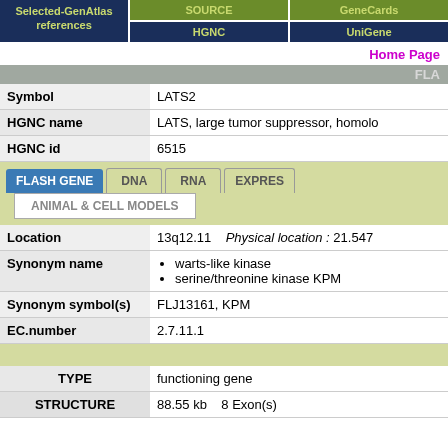Selected-GenAtlas references | SOURCE | GeneCards | HGNC | UniGene
Home Page
FLA
| Field | Value |
| --- | --- |
| Symbol | LATS2 |
| HGNC name | LATS, large tumor suppressor, homolo... |
| HGNC id | 6515 |
[Figure (screenshot): Tab navigation with FLASH GENE (active), DNA, RNA, EXPRES tabs and ANIMAL & CELL MODELS sub-tab]
| Field | Value |
| --- | --- |
| Location | 13q12.11    Physical location : 21.547... |
| Synonym name | warts-like kinase
serine/threonine kinase KPM |
| Synonym symbol(s) | FLJ13161, KPM |
| EC.number | 2.7.11.1 |
| Field | Value |
| --- | --- |
| TYPE | functioning gene |
| STRUCTURE | 88.55 kb     8 Exon(s) |